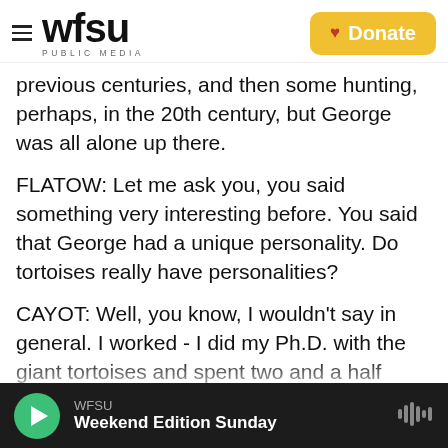WFSU PUBLIC MEDIA | Donate
previous centuries, and then some hunting, perhaps, in the 20th century, but George was all alone up there.
FLATOW: Let me ask you, you said something very interesting before. You said that George had a unique personality. Do tortoises really have personalities?
CAYOT: Well, you know, I wouldn't say in general. I worked - I did my Ph.D. with the giant tortoises and spent two and a half years pretty much living out there with the tortoises on Santa Cruz Island and Pinzon Archipelago...
WFSU | Weekend Edition Sunday